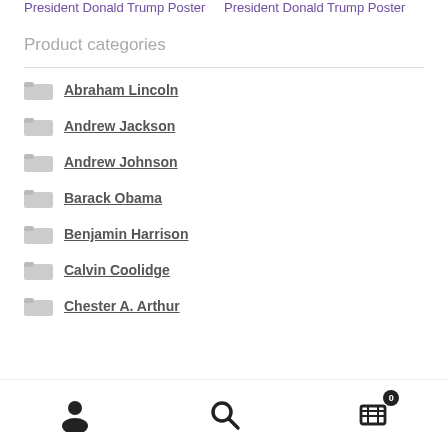President Donald Trump Poster
President Donald Trump Poster
Product categories
Abraham Lincoln
Andrew Jackson
Andrew Johnson
Barack Obama
Benjamin Harrison
Calvin Coolidge
Chester A. Arthur
account | search | cart (0)